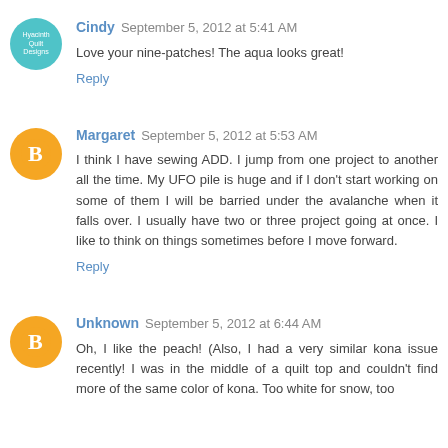Cindy  September 5, 2012 at 5:41 AM
Love your nine-patches! The aqua looks great!
Reply
Margaret  September 5, 2012 at 5:53 AM
I think I have sewing ADD. I jump from one project to another all the time. My UFO pile is huge and if I don't start working on some of them I will be barried under the avalanche when it falls over. I usually have two or three project going at once. I like to think on things sometimes before I move forward.
Reply
Unknown  September 5, 2012 at 6:44 AM
Oh, I like the peach! (Also, I had a very similar kona issue recently! I was in the middle of a quilt top and couldn't find more of the same color of kona. Too white for snow, too